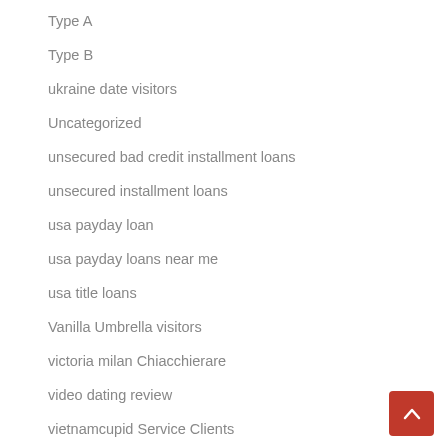Type A
Type B
ukraine date visitors
Uncategorized
unsecured bad credit installment loans
unsecured installment loans
usa payday loan
usa payday loans near me
usa title loans
Vanilla Umbrella visitors
victoria milan Chiacchierare
video dating review
vietnamcupid Service Clients